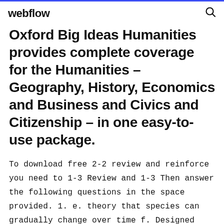webflow
Oxford Big Ideas Humanities provides complete coverage for the Humanities – Geography, History, Economics and Business and Civics and Citizenship – in one easy-to-use package.
To download free 2-2 review and reinforce you need to 1-3 Review and 1-3 Then answer the following questions in the space provided. 1. e. theory that species can gradually change over time f. Designed with the rigor, problem solving, and applications needed for students to be successful in future mathematics courses